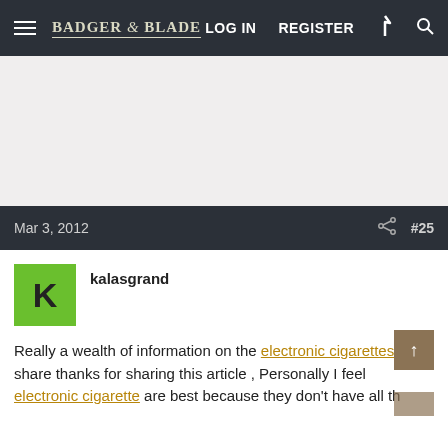Badger & Blade | LOG IN | REGISTER
[Figure (other): Advertisement area, blank/light gray]
Mar 3, 2012  #25
kalasgrand
Really a wealth of information on the electronic cigarettes nice share thanks for sharing this article , Personally I feel electronic cigarette are best because they don't have all th...